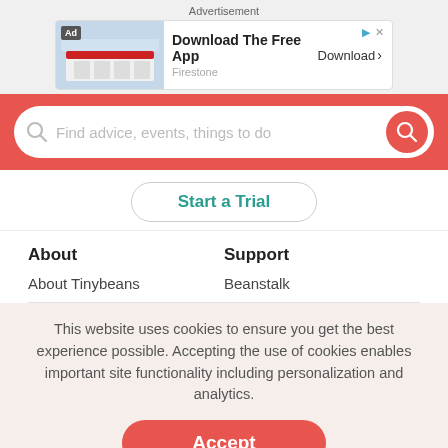Advertisement
[Figure (screenshot): Ad banner for Firestone app: 'Download The Free App' with Firestone logo image and Download button]
Find advice, events, things to do
Start a Trial
About
Support
About Tinybeans
Beanstalk
This website uses cookies to ensure you get the best experience possible. Accepting the use of cookies enables important site functionality including personalization and analytics.
Accept
Decline